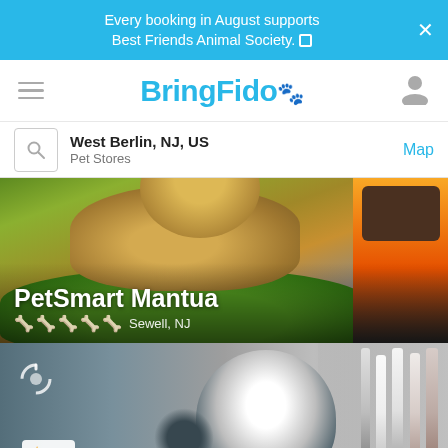Every booking in August supports Best Friends Animal Society.
BringFido
West Berlin, NJ, US
Pet Stores
Map
[Figure (photo): Dog lying in a green pet bed in a pet store, with yellow furniture in the background. Text overlay reads 'PetSmart Mantua' with bone icons and 'Sewell, NJ']
[Figure (photo): Husky puppy face close-up in a pet store setting with treats hanging on right side and a Bird store sign on left]